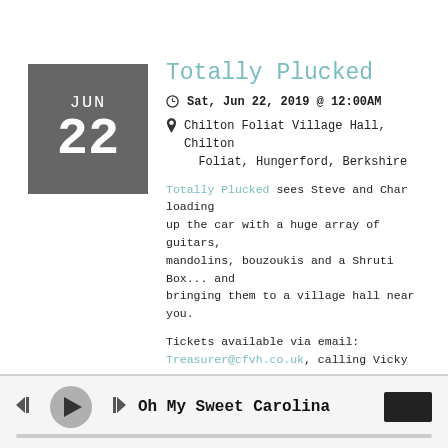Totally Plucked
Sat, Jun 22, 2019 @ 12:00AM
Chilton Foliat Village Hall, Chilton Foliat, Hungerford, Berkshire
Totally Plucked sees Steve and Char loading up the car with a huge array of guitars, mandolins, bouzoukis and a Shruti Box... and bringing them to a village hall near you.
Tickets available via email: Treasurer@cfvh.co.uk, calling Vicky on 07931536789 or online www.ticketsource.co.uk/whalebone
Refreshments available from The Wheatsheaf pub :)
Oh My Sweet Carolina